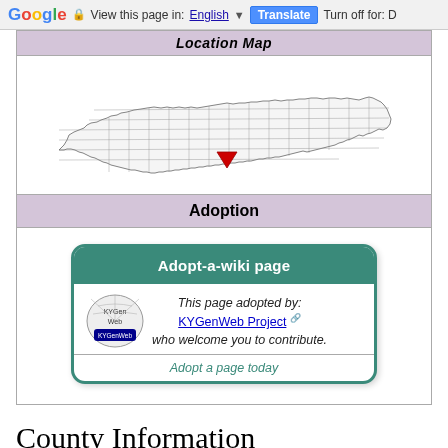Google  View this page in: English  Translate  Turn off for: D
[Figure (map): Location map of Kentucky with a highlighted county (red triangle marker) in the south-central region]
Adoption
[Figure (infographic): Adopt-a-wiki page box: This page adopted by: KYGenWeb Project who welcome you to contribute. Adopt a page today.]
County Information
Description